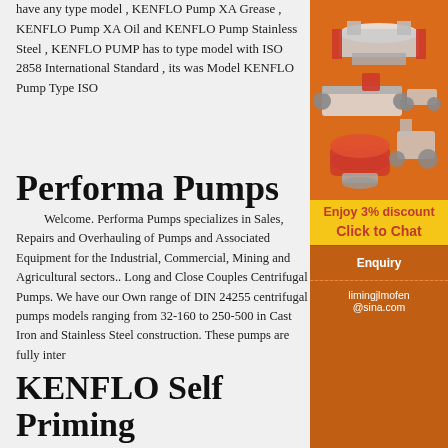have any type model , KENFLO Pump XA Grease , KENFLO Pump XA Oil and KENFLO Pump Stainless Steel , KENFLO PUMP has to type model with ISO 2858 International Standard , its was Model KENFLO Pump Type ISO
Performa Pumps
Welcome. Performa Pumps specializes in Sales, Repairs and Overhauling of Pumps and Associated Equipment for the Industrial, Commercial, Mining and Agricultural sectors.. Long and Close Couples Centrifugal Pumps. We have our Own range of DIN 24255 centrifugal pumps models ranging from 32-160 to 250-500 in Cast Iron and Stainless Steel construction. These pumps are fully inter
KENFLO Self Priming Centrifugal
[Figure (illustration): Industrial machinery equipment including crushers and grinders shown on orange background]
Enjoy 3% discount
Click to Chat
Enquiry
limingjlmofen@sina.com